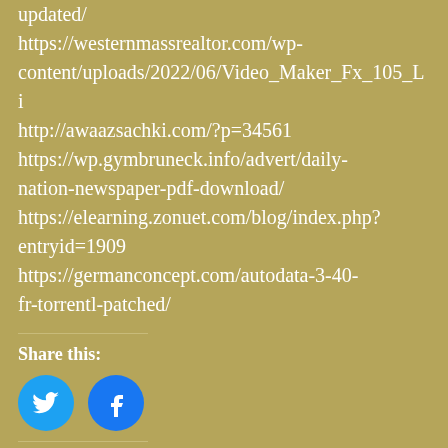updated/
https://westernmassrealtor.com/wp-content/uploads/2022/06/Video_Maker_Fx_105_Li
http://awaazsachki.com/?p=34561
https://wp.gymbruneck.info/advert/daily-nation-newspaper-pdf-download/
https://elearning.zonuet.com/blog/index.php?entryid=1909
https://germanconcept.com/autodata-3-40-fr-torrentl-patched/
Share this:
[Figure (other): Twitter share button (blue circle with Twitter bird icon) and Facebook share button (blue circle with Facebook 'f' icon)]
Related
Nova Software Extractor 2.4.22 [TOP]
Nova Zemlja Knjiga Pdf 124